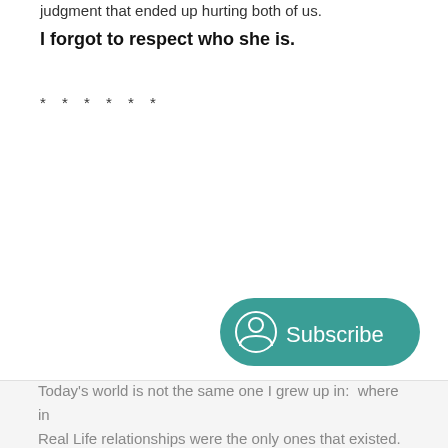judgment that ended up hurting both of us.
I forgot to respect who she is.
* * * * * *
[Figure (other): Subscribe button with person/user icon in teal rounded rectangle]
Today's world is not the same one I grew up in:  where in Real Life relationships were the only ones that existed.